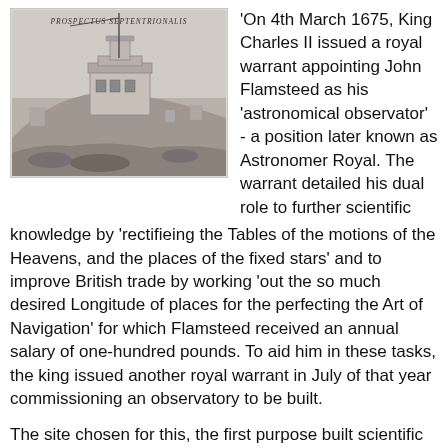[Figure (illustration): Historical engraving/etching of the Royal Observatory at Greenwich showing the building on a hill with instruments visible, labeled 'Prospectus Septentrionalis' at the top]
On 4th March 1675, King Charles II issued a royal warrant appointing John Flamsteed as his 'astronomical observator' - a position later known as Astronomer Royal. The warrant detailed his dual role to further scientific knowledge by 'rectifieing the Tables of the motions of the Heavens, and the places of the fixed stars' and to improve British trade by working 'out the so much desired Longitude of places for the perfecting the Art of Navigation' for which Flamsteed received an annual salary of one-hundred pounds. To aid him in these tasks, the king issued another royal warrant in July of that year commissioning an observatory to be built.
The site chosen for this, the first purpose built scientific building in England, was on a hill in the royal park at Greenwich, then a town outside London. Robert Hooke started work on a design for the observatory, possibly consulting Christopher Wren with whom he collaborated on